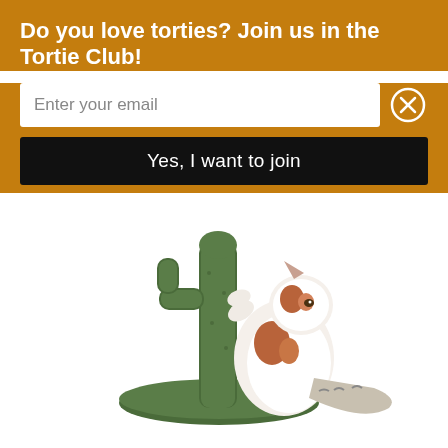Do you love torties? Join us in the Tortie Club!
Enter your email
Yes, I want to join
[Figure (photo): A white and brown/orange cat scratching a green cactus-shaped sisal scratching post on a round green base.]
Simple to assemble
Includes durable sisal rope